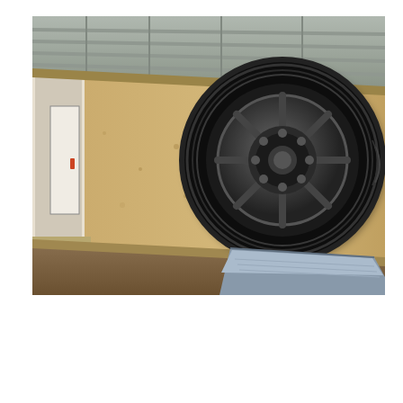[Figure (photo): Interior of a cargo trailer showing a spare tire mounted on the OSB-lined wall using an elevated tire mount bracket. The tire is a full black wheel mounted on a diamond-plate metal shelf bracket. The trailer interior shows a long corridor with a door visible at the far end and a metal ceiling.]
Elevated Tire Mount
With the Elevated Tire Mount on your CargoPro utility trailer, accessing the spare tire is quick and ease, requiring less bending.